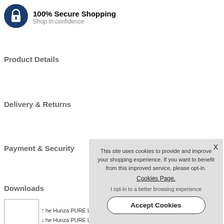[Figure (logo): Blue circular lock icon for secure shopping]
100% Secure Shopping
Shop in confidence
Product Details
Delivery & Returns
Payment & Security
Downloads
[Figure (other): Small document thumbnail box]
The Hunza PURE LE
The Hunza PURE LED
Moonlight Design re registered NICEIC ele
This site uses cookies to provide and improve your shopping experience. If you want to benefit from this improved service, please opt-in. Cookies Page. I opt-in to a better browsing experience Accept Cookies